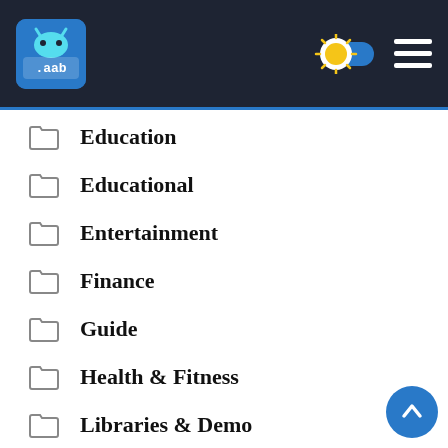.aab
Education
Educational
Entertainment
Finance
Guide
Health & Fitness
Libraries & Demo
Lifestyle
Maps & Navigation
Medical
Movies